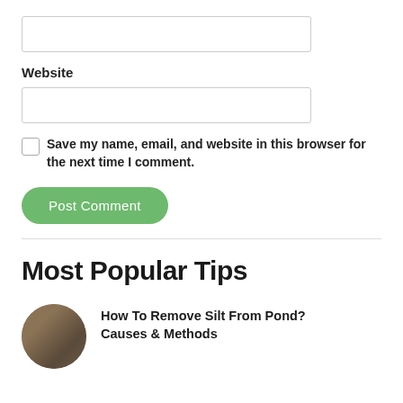[input field — top]
Website
[input field — website]
Save my name, email, and website in this browser for the next time I comment.
Post Comment
Most Popular Tips
How To Remove Silt From Pond? Causes & Methods